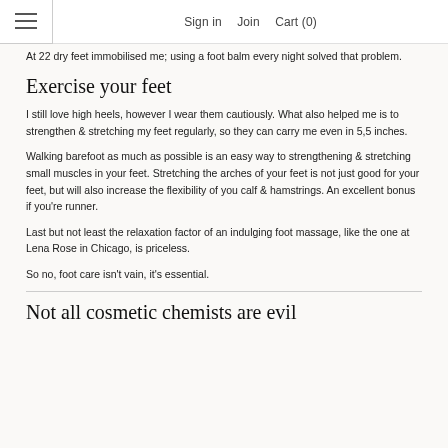Sign in   Join   Cart (0)
At 22 dry feet immobilised me; using a foot balm every night solved that problem.
Exercise your feet
I still love high heels, however I wear them cautiously. What also helped me is to strengthen & stretching my feet regularly, so they can carry me even in 5,5 inches.
Walking barefoot as much as possible is an easy way to strengthening & stretching small muscles in your feet. Stretching the arches of your feet is not just good for your feet, but will also increase the flexibility of you calf & hamstrings. An excellent bonus if you're runner.
Last but not least the relaxation factor of an indulging foot massage, like the one at Lena Rose in Chicago, is priceless.
So no, foot care isn't vain, it's essential.
Not all cosmetic chemists are evil